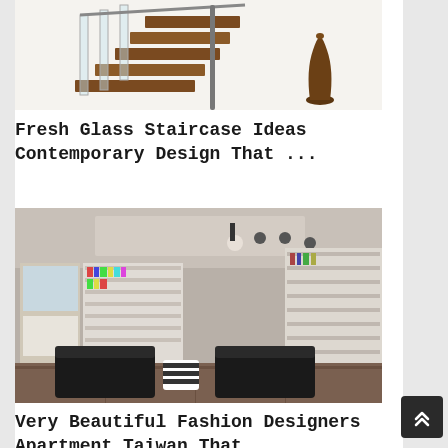[Figure (photo): Glass staircase with wooden steps, glass balustrades and metal handrail, with a brown vase on white background]
Fresh Glass Staircase Ideas Contemporary Design That ...
[Figure (photo): Modern apartment interior with long room, black leather sofas, white bookshelves along walls, track lighting on ceiling, large windows on left side]
Very Beautiful Fashion Designers Apartment Taiwan That ...